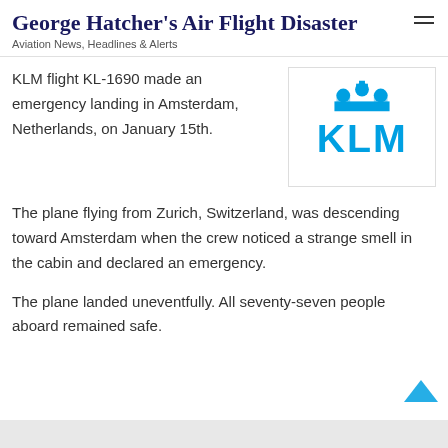George Hatcher's Air Flight Disaster
Aviation News, Headlines & Alerts
KLM flight KL-1690 made an emergency landing in Amsterdam, Netherlands, on January 15th.
[Figure (logo): KLM airline logo in blue, featuring a crown above the letters KLM]
The plane flying from Zurich, Switzerland, was descending toward Amsterdam when the crew noticed a strange smell in the cabin and declared an emergency.
The plane landed uneventfully. All seventy-seven people aboard remained safe.